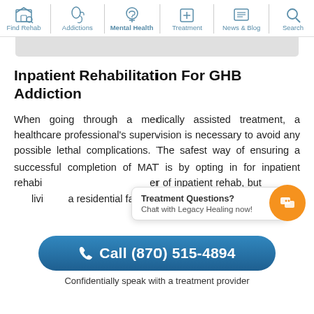Find Rehab | Addictions | Mental Health | Treatment | News & Blog | Search
Inpatient Rehabilitation For GHB Addiction
When going through a medically assisted treatment, a healthcare professional's supervision is necessary to avoid any possible lethal complications. The safest way of ensuring a successful completion of MAT is by opting in for inpatient rehabi... er of inpatient rehab, but... livi... a residential facility.
Treatment Questions?
Chat with Legacy Healing now!
Call (870) 515-4894
Confidentially speak with a treatment provider